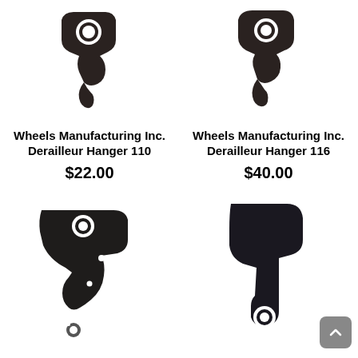[Figure (photo): Black metal derailleur hanger component, Hanger 110, top-left product photo]
[Figure (photo): Black metal derailleur hanger component, Hanger 116, top-right product photo]
Wheels Manufacturing Inc. Derailleur Hanger 110
$22.00
Wheels Manufacturing Inc. Derailleur Hanger 116
$40.00
[Figure (photo): Black metal derailleur hanger component, larger style, bottom-left product photo]
[Figure (photo): Black metal derailleur hanger component, angular style, bottom-right product photo]